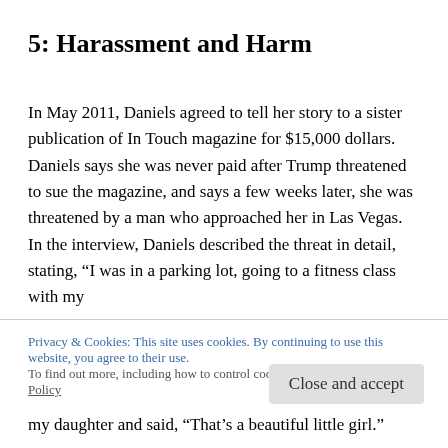5: Harassment and Harm
In May 2011, Daniels agreed to tell her story to a sister publication of In Touch magazine for $15,000 dollars. Daniels says she was never paid after Trump threatened to sue the magazine, and says a few weeks later, she was threatened by a man who approached her in Las Vegas. In the interview, Daniels described the threat in detail, stating, “I was in a parking lot, going to a fitness class with my
Privacy & Cookies: This site uses cookies. By continuing to use this website, you agree to their use.
To find out more, including how to control cookies, see here: Cookie Policy
my daughter and said, “That’s a beautiful little girl.”